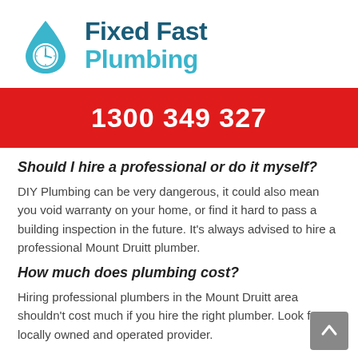[Figure (logo): Fixed Fast Plumbing logo with water drop icon containing a clock, and text 'Fixed Fast Plumbing']
1300 349 327
Should I hire a professional or do it myself?
DIY Plumbing can be very dangerous, it could also mean you void warranty on your home, or find it hard to pass a building inspection in the future. It's always advised to hire a professional Mount Druitt plumber.
How much does plumbing cost?
Hiring professional plumbers in the Mount Druitt area shouldn't cost much if you hire the right plumber. Look for a locally owned and operated provider.